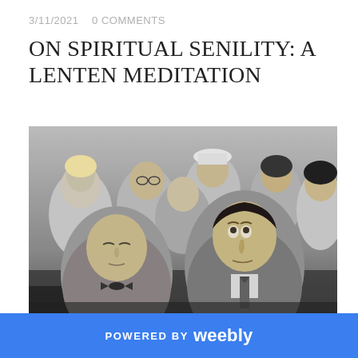3/11/2021   0 COMMENTS
ON SPIRITUAL SENILITY: A LENTEN MEDITATION
[Figure (photo): Black and white photograph of people sitting in what appears to be a church or courtroom. In the foreground, a man with a bow tie appears to have his eyes closed or nearly closed, while next to him another taller man looks upward. Behind them are several women, some wearing hats, all looking in a similar direction.]
POWERED BY weebly